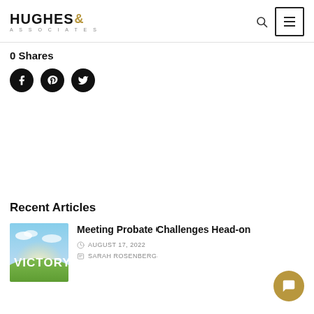[Figure (logo): Hughes & Associates law firm logo with ampersand in gold/brown]
0  Shares
[Figure (infographic): Three social media buttons: Facebook, Pinterest, Twitter (black circles with white icons)]
Recent Articles
[Figure (photo): Thumbnail image showing grass field with sky and text VICTORY overlay]
Meeting Probate Challenges Head-on
AUGUST 17, 2022
SARAH ROSENBERG